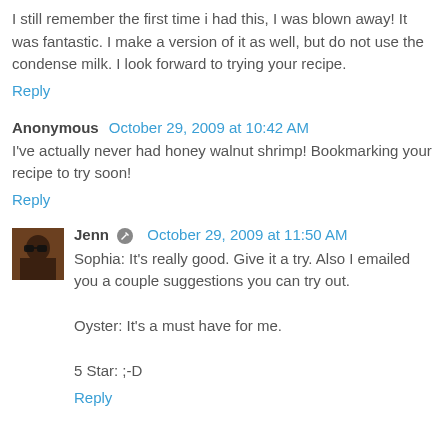I still remember the first time i had this, I was blown away! It was fantastic. I make a version of it as well, but do not use the condense milk. I look forward to trying your recipe.
Reply
Anonymous  October 29, 2009 at 10:42 AM
I've actually never had honey walnut shrimp! Bookmarking your recipe to try soon!
Reply
Jenn  October 29, 2009 at 11:50 AM
Sophia: It's really good. Give it a try. Also I emailed you a couple suggestions you can try out.

Oyster: It's a must have for me.

5 Star: ;-D
Reply